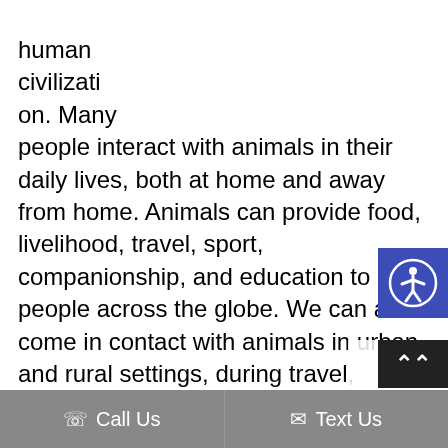human civilizati on. Many people interact with animals in their daily lives, both at home and away from home. Animals can provide food, livelihood, travel, sport, companionship, and education to people across the globe. We can also come in contact with animals in urban and rural settings, during travel, visiting animal exhibits, or while enjoying the outdoors. However, animals can also spread harmful germs to people and cause illnesses known as zoonotic diseases, or zoonoses. These
[Figure (other): Accessibility button with person icon in blue circle on dark blue background]
Call Us   Text Us